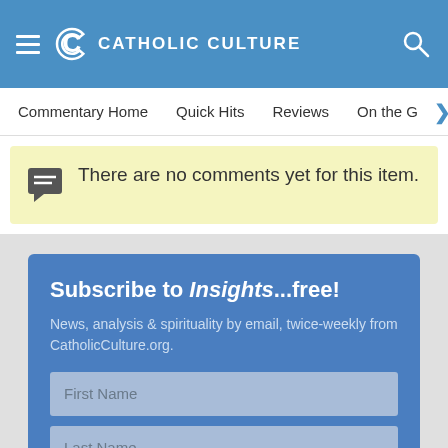CATHOLIC CULTURE
Commentary Home | Quick Hits | Reviews | On the G >
There are no comments yet for this item.
Subscribe to Insights...free!
News, analysis & spirituality by email, twice-weekly from CatholicCulture.org.
First Name
Last Name
email (address must work)
Sign up now!